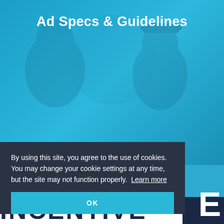Ad Specs & Guidelines
[Figure (photo): Blue-tinted background with silhouettes of people, used as hero image for Ad Specs & Guidelines page]
By using this site, you agree to the use of cookies. You may change your cookie settings at any time, but the site may not function properly. Learn more
OK
INCENTIVE